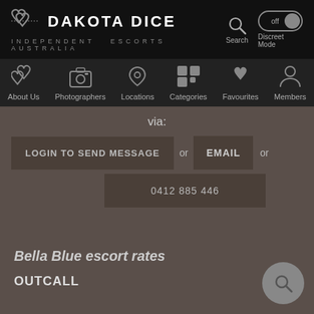DAKOTA DICE INDEPENDENT ESCORTS AUSTRALIA — Search | Discreet Mode off
About Us | Photographers | Locations | Categories | Favourites | Members
via:
LOGIN TO SEND MESSAGE
or
EMAIL
or
0412 885 446
Bella Blue escort rates
OUTCALL